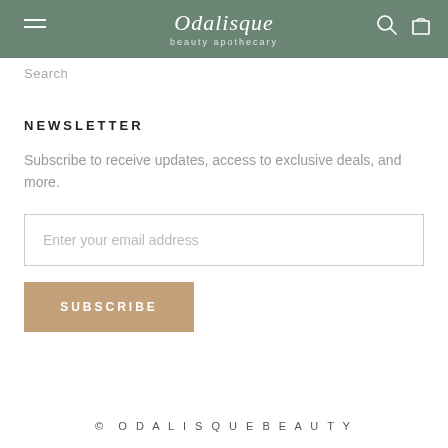Odalisque beauty apothecary
Search
NEWSLETTER
Subscribe to receive updates, access to exclusive deals, and more.
Enter your email address
SUBSCRIBE
© ODALISQUEBEAUTY